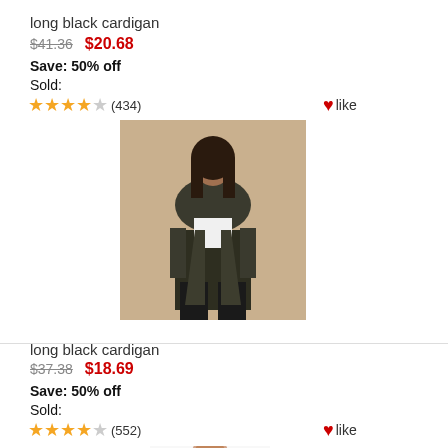long black cardigan
$41.36   $20.68   Save: 50% off   Sold:
★★★★☆ (434)  ❤like
[Figure (photo): Woman wearing a long dark olive/black cardigan over white top with dark pants]
long black cardigan
$37.38   $18.69   Save: 50% off   Sold:
★★★★☆ (552)  ❤like
[Figure (photo): Woman wearing a long grey/light cardigan over white top]